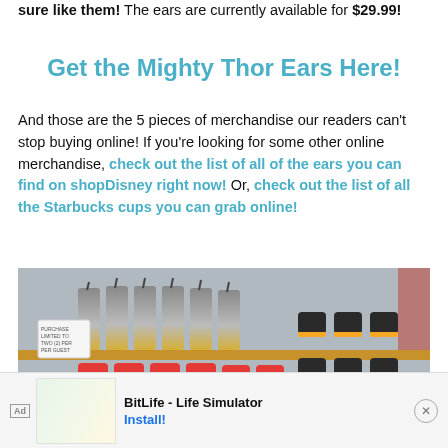sure like them! The ears are currently available for $29.99!
Get the Mighty Thor Ears Here!
And those are the 5 pieces of merchandise our readers can't stop buying online! If you're looking for some other online merchandise, check out the list of all of the ears you can find on shopDisney right now! Or, check out the list of all the Starbucks cups you can grab online!
[Figure (photo): Photo of Starbucks cups and mugs on retail shelves — tall silver/gold tumbler cups with straws and black mugs with gold accents on upper shelves, red and white mugs on lower shelf, with a sign partially visible on the left.]
[Figure (infographic): Ad banner for BitLife - Life Simulator app. Shows 'Ad' label, a yellow emoji icon and green chart graphic on left, BitLife logo in center, text 'BitLife - Life Simulator' and 'Install!' button on right, with close X button.]